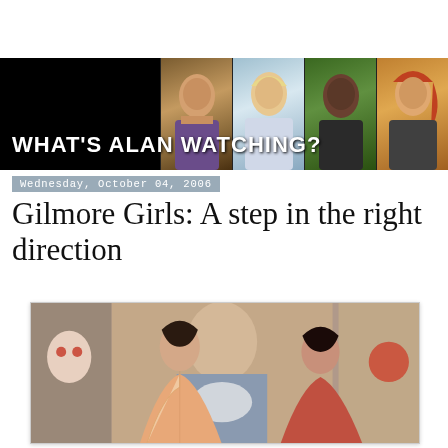[Figure (photo): Blog header banner: black background with 'WHAT'S ALAN WATCHING?' title in white bold text, with four portrait-style TV show cast photos on the right side]
Wednesday, October 04, 2006
Gilmore Girls: A step in the right direction
[Figure (photo): Scene from Gilmore Girls showing two women in an ornately decorated room with Asian-themed decor including a large portrait backdrop. One woman wears an orange/peach kimono-style garment.]